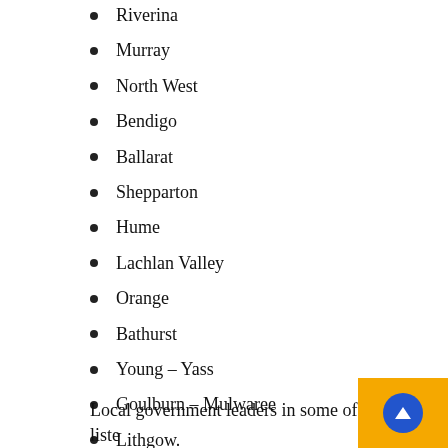Riverina
Murray
North West
Bendigo
Ballarat
Shepparton
Hume
Lachlan Valley
Orange
Bathurst
Young – Yass
Goulburn – Mulwaree
Lithgow.
Local government leaders in some of the liste